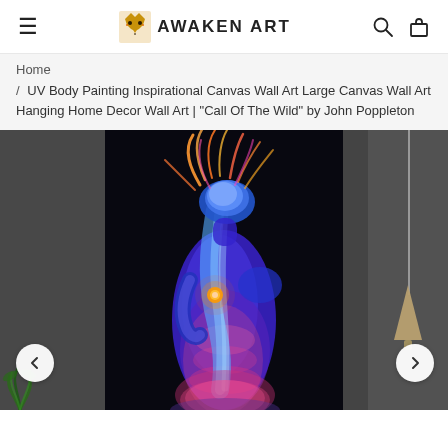AWAKEN ART
Home
/ UV Body Painting Inspirational Canvas Wall Art Large Canvas Wall Art Hanging Home Decor Wall Art | "Call Of The Wild" by John Poppleton
[Figure (photo): UV body painting art photograph showing a woman with blue UV body paint and glowing hair highlights against a dark background, displayed as a canvas wall art in a room setting with a pendant lamp and plant visible.]